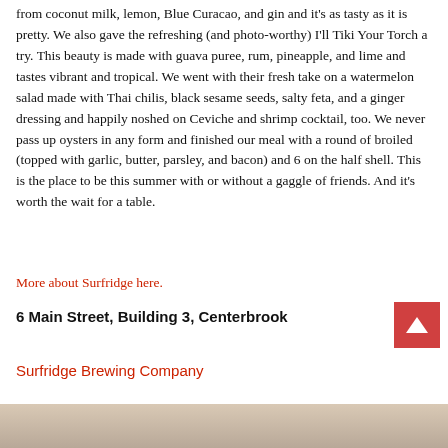from coconut milk, lemon, Blue Curacao, and gin and it's as tasty as it is pretty. We also gave the refreshing (and photo-worthy) I'll Tiki Your Torch a try. This beauty is made with guava puree, rum, pineapple, and lime and tastes vibrant and tropical. We went with their fresh take on a watermelon salad made with Thai chilis, black sesame seeds, salty feta, and a ginger dressing and happily noshed on Ceviche and shrimp cocktail, too. We never pass up oysters in any form and finished our meal with a round of broiled (topped with garlic, butter, parsley, and bacon) and 6 on the half shell. This is the place to be this summer with or without a gaggle of friends. And it's worth the wait for a table.
More about Surfridge here.
6 Main Street, Building 3, Centerbrook
Surfridge Brewing Company
[Figure (photo): Bottom strip of a photo, partially visible at the bottom of the page]